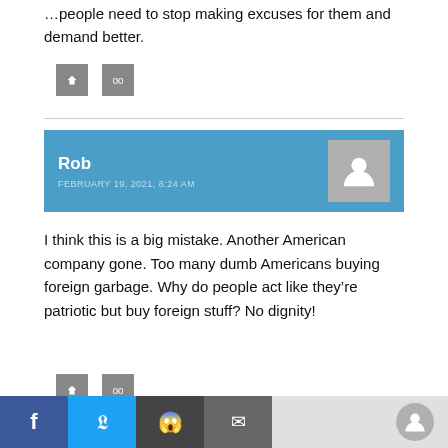...people need to stop making excuses for them and demand better.
[Figure (other): Two small grey icon/button squares]
I think this is a big mistake. Another American company gone. Too many dumb Americans buying foreign garbage. Why do people act like they’re patriotic but buy foreign stuff? No dignity!
Rob — FEBRUARY 19, 2021, 8:24 AM
[Figure (other): Two small grey icon/button squares]
[Figure (other): Social share bar with Facebook, Twitter, Reddit, Email buttons]